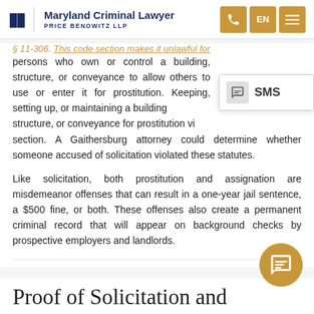Maryland Criminal Lawyer — Price Benowitz LLP
§ 11-306. This code section makes it unlawful for persons who own or control a building, structure, or conveyance to allow others to use or enter it for prostitution. Keeping, setting up, or maintaining a building, structure, or conveyance for prostitution violates this section. A Gaithersburg attorney could determine whether someone accused of solicitation violated these statutes.
Like solicitation, both prostitution and assignation are misdemeanor offenses that can result in a one-year jail sentence, a $500 fine, or both. These offenses also create a permanent criminal record that will appear on background checks by prospective employers and landlords.
Proof of Solicitation and